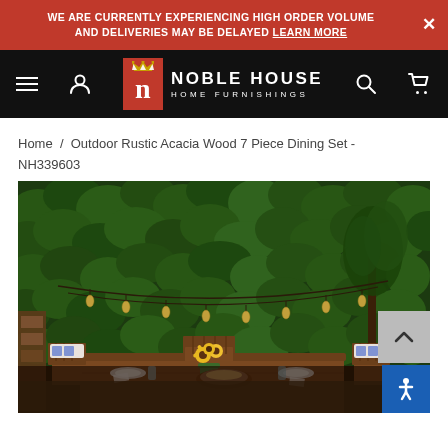WE ARE CURRENTLY EXPERIENCING HIGH ORDER VOLUME AND DELIVERIES MAY BE DELAYED LEARN MORE
[Figure (logo): Noble House Home Furnishings logo with red n box and crown, white text on black navbar]
Home / Outdoor Rustic Acacia Wood 7 Piece Dining Set - NH339603
[Figure (photo): Outdoor rustic acacia wood dining set with 6 chairs around a rectangular table, set against a green hedge wall backdrop with string lights hanging overhead and sunflowers as centerpiece]